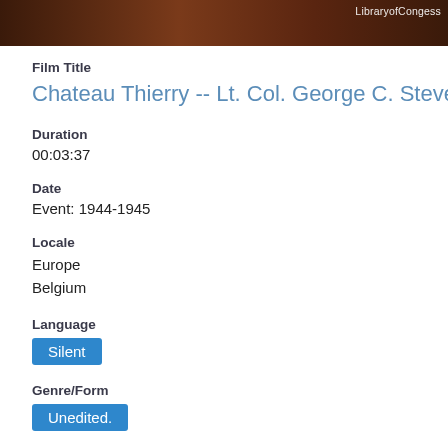[Figure (photo): Partial photograph strip at top of page with Library of Congress watermark/text visible in upper right]
Film Title
Chateau Thierry -- Lt. Col. George C. Stevens
Duration
00:03:37
Date
Event:  1944-1945
Locale
Europe
Belgium
Language
Silent
Genre/Form
Unedited.